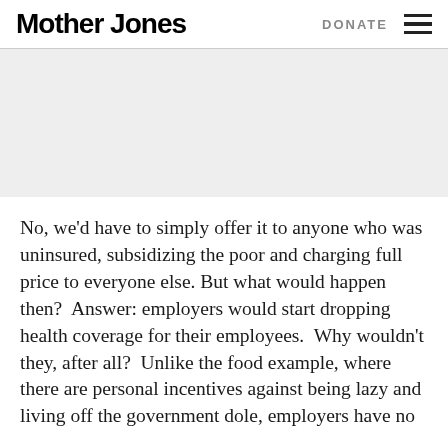Mother Jones | DONATE
[Figure (other): Gray banner / advertisement placeholder area]
No, we'd have to simply offer it to anyone who was uninsured, subsidizing the poor and charging full price to everyone else. But what would happen then?  Answer: employers would start dropping health coverage for their employees.  Why wouldn't they, after all?  Unlike the food example, where there are personal incentives against being lazy and living off the government dole, employers have no